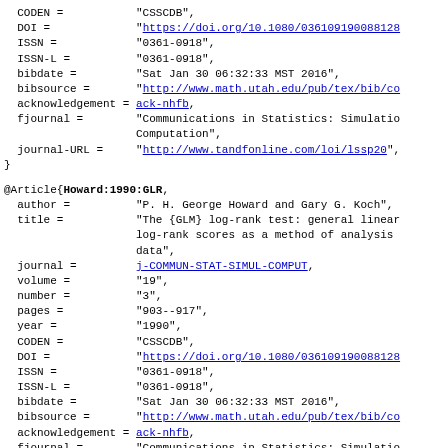CODEN =         "CSSCDB",
  DOI =             "https://doi.org/10.1080/036109190088128...",
  ISSN =            "0361-0918",
  ISSN-L =          "0361-0918",
  bibdate =         "Sat Jan 30 06:32:33 MST 2016",
  bibsource =       "http://www.math.utah.edu/pub/tex/bib/co...",
  acknowledgement = ack-nhfb,
  fjournal =        "Communications in Statistics: Simulation and
                    Computation",
  journal-URL =     "http://www.tandfonline.com/loi/lssp20",
}
@Article{Howard:1990:GLR,
  author =          "P. H. George Howard and Gary G. Koch",
  title =           "The {GLM} log-rank test: general linear
                    log-rank scores as a method of analysis
                    data",
  journal =         j-COMMUN-STAT-SIMUL-COMPUT,
  volume =          "19",
  number =          "3",
  pages =           "903--917",
  year =            "1990",
  CODEN =           "CSSCDB",
  DOI =             "https://doi.org/10.1080/036109190088128...",
  ISSN =            "0361-0918",
  ISSN-L =          "0361-0918",
  bibdate =         "Sat Jan 30 06:32:33 MST 2016",
  bibsource =       "http://www.math.utah.edu/pub/tex/bib/co...",
  acknowledgement = ack-nhfb,
  fjournal =        "Communications in Statistics: Simulatio..."